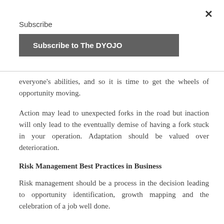×
Subscribe
Subscribe to The DYOJO
everyone's abilities, and so it is time to get the wheels of opportunity moving.
Action may lead to unexpected forks in the road but inaction will only lead to the eventually demise of having a fork stuck in your operation. Adaptation should be valued over deterioration.
Risk Management Best Practices in Business
Risk management should be a process in the decision leading to opportunity identification, growth mapping and the celebration of a job well done.